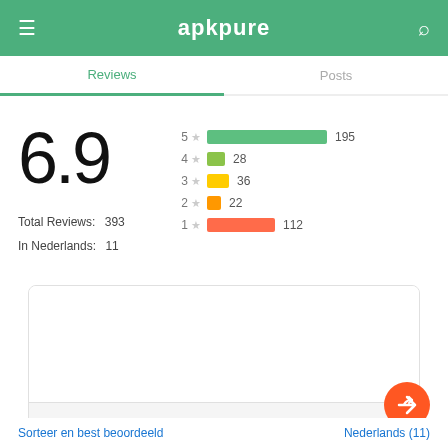apkpure
Reviews | Posts
[Figure (bar-chart): Rating distribution]
6.9
Total Reviews: 393
In Nederlands: 11
Versturen ▶
Sorteer en best beoordeeld
Nederlands (11)